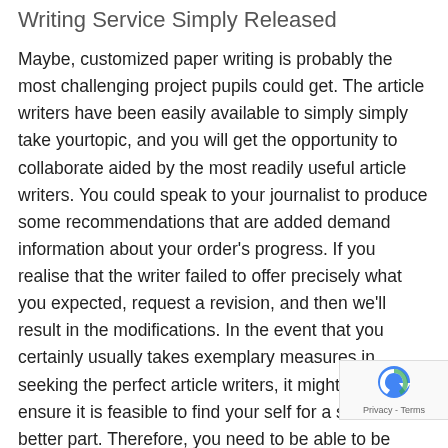Writing Service Simply Released
Maybe, customized paper writing is probably the most challenging project pupils could get. The article writers have been easily available to simply simply take yourtopic, and you will get the opportunity to collaborate aided by the most readily useful article writers. You could speak to your journalist to produce some recommendations that are added demand information about your order's progress. If you realise that the writer failed to offer precisely what you expected, request a revision, and then we'll result in the modifications. In the event that you certainly usually takes exemplary measures in seeking the perfect article writers, it might surely ensure it is feasible to find your self for a somewhat better part. Therefore, you need to be able to be paper that is expert where it might are able to of because of the proper solutions. The best expert pa article writers would likewise provide you with the